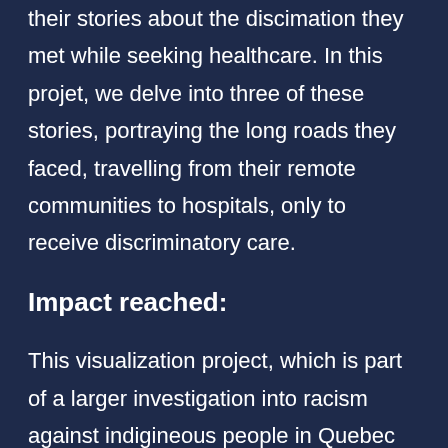their stories about the discimation they met while seeking healthcare. In this projet, we delve into three of these stories, portraying the long roads they faced, travelling from their remote communities to hospitals, only to receive discriminatory care.
Impact reached:
This visualization project, which is part of a larger investigation into racism against indigineous people in Quebec health care, allows readers to understand the difficulties of access to large hospitals for indigineous people